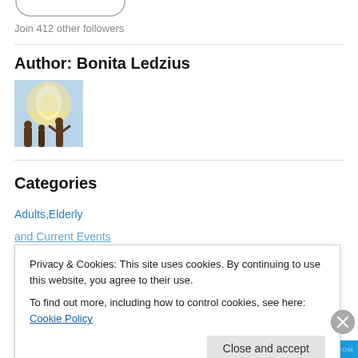[Figure (other): Oval button widget (partial, cropped at top)]
Join 412 other followers
Author: Bonita Ledzius
[Figure (photo): Author profile image showing a religious scene with a figure and light]
Categories
Adults,Elderly
and Current Events
Privacy & Cookies: This site uses cookies. By continuing to use this website, you agree to their use.
To find out more, including how to control cookies, see here: Cookie Policy
Close and accept